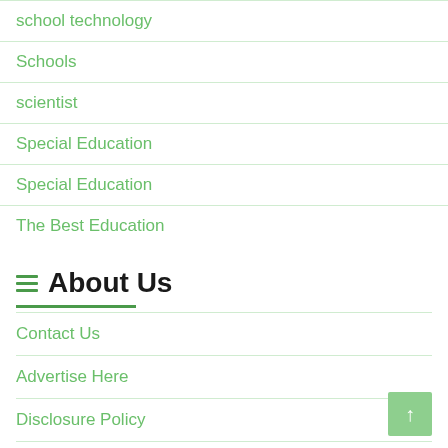school technology
Schools
scientist
Special Education
Special Education
The Best Education
About Us
Contact Us
Advertise Here
Disclosure Policy
Sitemap